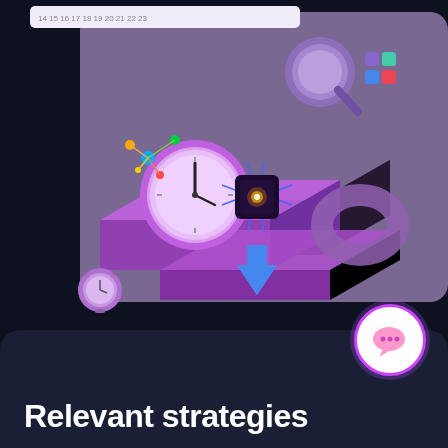[Figure (illustration): 3D isometric illustration on dark navy background showing a purple/pink platform with a clock, a magnifying glass, a ring shape, a blue upward arrow, and a glowing AI chip in center. Floating elements include a small molecular network graphic (yellow, green, blue nodes) and a small purple alarm clock. In top left area there is a white calendar strip with numbers. Top right has colored squares icon grid.]
Relevant strategies